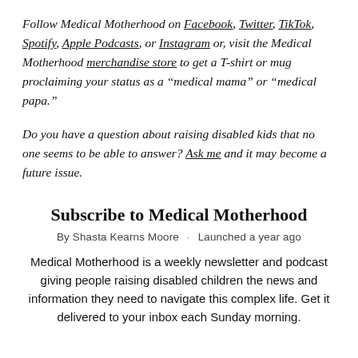Follow Medical Motherhood on Facebook, Twitter, TikTok, Spotify, Apple Podcasts, or Instagram or, visit the Medical Motherhood merchandise store to get a T-shirt or mug proclaiming your status as a "medical mama" or "medical papa."
Do you have a question about raising disabled kids that no one seems to be able to answer? Ask me and it may become a future issue.
Subscribe to Medical Motherhood
By Shasta Kearns Moore · Launched a year ago
Medical Motherhood is a weekly newsletter and podcast giving people raising disabled children the news and information they need to navigate this complex life. Get it delivered to your inbox each Sunday morning.